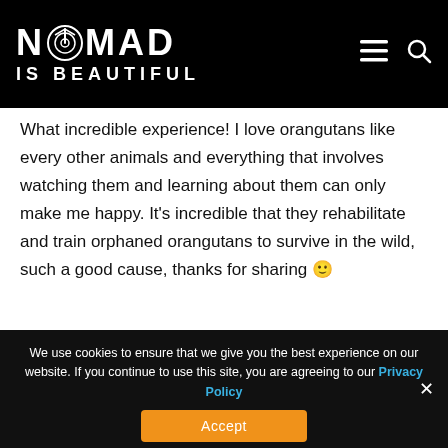NOMAD IS BEAUTIFUL
What incredible experience! I love orangutans like every other animals and everything that involves watching them and learning about them can only make me happy. It's incredible that they rehabilitate and train orphaned orangutans to survive in the wild, such a good cause, thanks for sharing 🙂
We use cookies to ensure that we give you the best experience on our website. If you continue to use this site, you are agreeing to our Privacy Policy
Accept